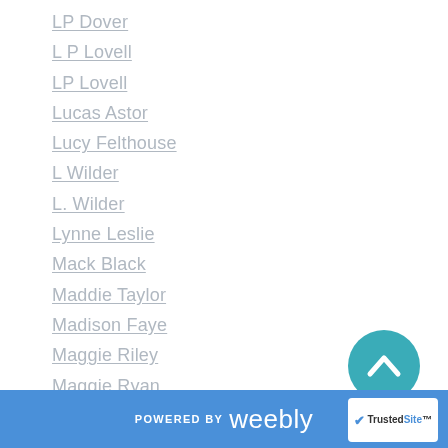LP Dover
L P Lovell
LP Lovell
Lucas Astor
Lucy Felthouse
L Wilder
L. Wilder
Lynne Leslie
Mack Black
Maddie Taylor
Madison Faye
Maggie Riley
Maggie Ryan
Mandi Beck
M Andrews
Mara White
Margaret McHeyzer
[Figure (other): Teal circular scroll-to-top button with upward chevron arrow]
POWERED BY weebly  TrustedSite